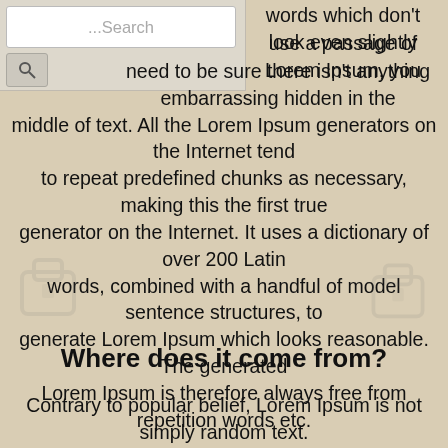[Figure (screenshot): Search bar UI element with text '...Search' and a search icon button below it]
words which don't look even slightly use a passage of Lorem Ipsum, you need to be sure there isn't anything embarrassing hidden in the middle of text. All the Lorem Ipsum generators on the Internet tend to repeat predefined chunks as necessary, making this the first true generator on the Internet. It uses a dictionary of over 200 Latin words, combined with a handful of model sentence structures, to generate Lorem Ipsum which looks reasonable. The generated Lorem Ipsum is therefore always free from repetition words etc
Where does it come from?
Contrary to popular belief, Lorem Ipsum is not simply random text. It has roots in a piece of classical Latin literature from 45 BC, making it over 2000 years old. Richard McClintock, a Latin professor at Hampden-Sydney College in Virginia, looked up one of the more obscure Latin words, consectetur, from a Lorem Ipsum passage, and going through the cites of the word in classical literature, discovered the undoubtable source. Lorem Ipsum comes from sections 1.10.32 and 1.10.33 of "de Finibus Bonorum et Malorum" (The Extremes of Good and Evil) by Cicero, written in 45 BC. This book is a treatise on the theory of ethics, very popular during the Renaissance. The first line of Lorem Ipsum, "Lorem ipsum dolor sit amet,", comes from a line in section 1.10.32